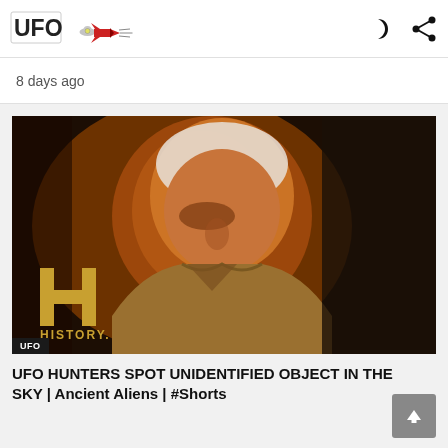UFO (logo) with moon and share icons
8 days ago
[Figure (photo): A man with white hair and a tan/brown jacket looking downward under dramatic orange lighting, with the History Channel H logo and the word HISTORY visible in the lower left corner of the image, and a UFO badge overlay in the bottom-left corner.]
UFO HUNTERS SPOT UNIDENTIFIED OBJECT IN THE SKY | Ancient Aliens | #Shorts